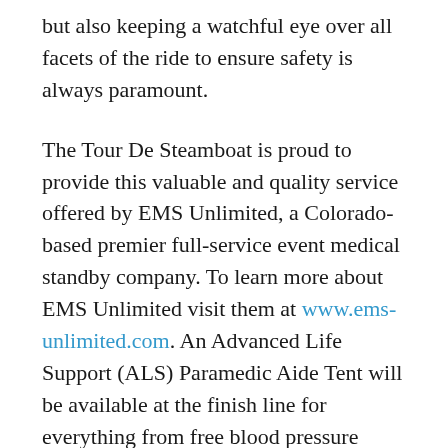but also keeping a watchful eye over all facets of the ride to ensure safety is always paramount.
The Tour De Steamboat is proud to provide this valuable and quality service offered by EMS Unlimited, a Colorado-based premier full-service event medical standby company. To learn more about EMS Unlimited visit them at www.ems-unlimited.com. An Advanced Life Support (ALS) Paramedic Aide Tent will be available at the finish line for everything from free blood pressure checks to serious medical emergencies. Two marked Paramedic response vehicles will be roaming all three routes to provide immediate medical stabilization and transport coordination even in the most rural corners of the course. In the event of a medical emergency call 911 or stop by the nearest aide station and EMT's and Paramedics will be at your side within moments. There are portions of the course where cellular service is unreliable if you find someone needing